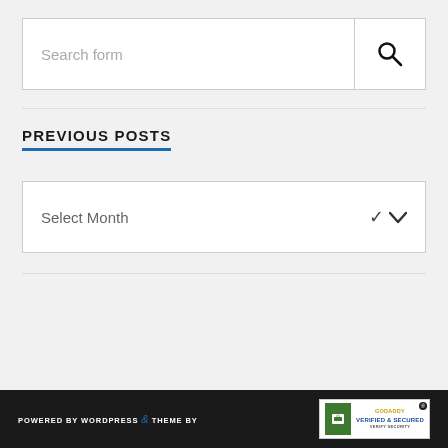[Figure (screenshot): Search form input box with magnifying glass icon button on the right]
PREVIOUS POSTS
[Figure (screenshot): Dropdown selector showing 'Select Month' with chevron icon]
POWERED BY WORDPRESS & THEME BY | GoDaddy Verified & Secured badge